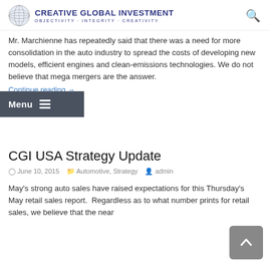CREATIVE GLOBAL INVESTMENT — OBJECTIVITY · INTEGRITY · CREATIVITY
Mr. Marchienne has repeatedly said that there was a need for more consolidation in the auto industry to spread the costs of developing new models, efficient engines and clean-emissions technologies. We do not believe that mega mergers are the answer.
Continue reading →
CGI USA Strategy Update
June 10, 2015  Automotive, Strategy  admin
May's strong auto sales have raised expectations for this Thursday's May retail sales report.  Regardless as to what number prints for retail sales, we believe that the near